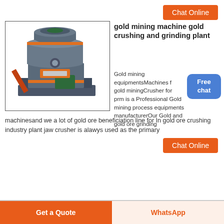[Figure (other): Orange 'Chat Online' button at top right]
[Figure (photo): Gold mining grinding machine — large cylindrical grey industrial crusher with orange accents and green motor base]
gold mining machine gold crushing and grinding plant
Gold mining equipmentsMachines for gold miningCrusher for prm is a Professional Gold mining process equipments manufacturerOur Gold and gold ore grinding machinesand we a lot of gold ore beneficiation line for In gold ore crushing industry plant jaw crusher is alawys used as the primary
[Figure (other): Blue 'Free chat' badge/button]
[Figure (other): Orange 'Chat Online' button at bottom right]
[Figure (other): Bottom bar with 'Get a Quote' and 'WhatsApp' buttons]